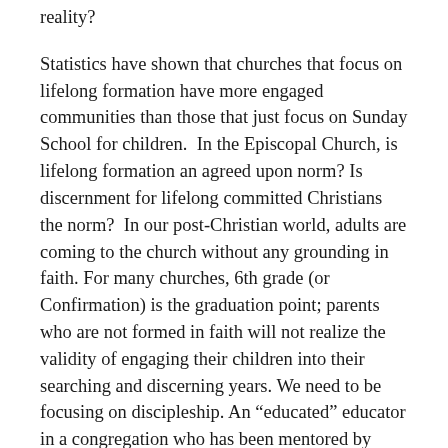reality?
Statistics have shown that churches that focus on lifelong formation have more engaged communities than those that just focus on Sunday School for children.  In the Episcopal Church, is lifelong formation an agreed upon norm? Is discernment for lifelong committed Christians the norm?  In our post-Christian world, adults are coming to the church without any grounding in faith. For many churches, 6th grade (or Confirmation) is the graduation point; parents who are not formed in faith will not realize the validity of engaging their children into their searching and discerning years. We need to be focusing on discipleship. An “educated” educator in a congregation who has been mentored by respected leaders of the church will continue to grow and learn alongside his or her peers as well as those with whom they share ministry.
The conversation has just begun. But there is definite